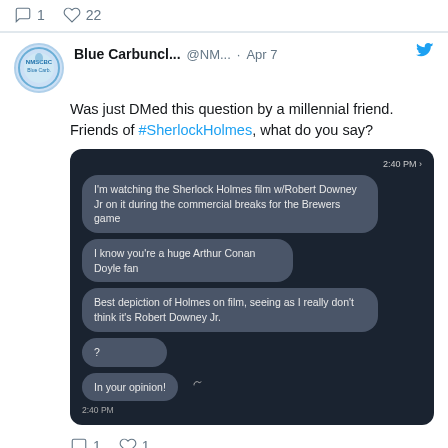[Figure (screenshot): Top of tweet feed showing reply/like counts: 1 reply, 22 likes]
Blue Carbuncl... @NM... · Apr 7
Was just DMed this question by a millennial friend. Friends of #SherlockHolmes, what do you say?
[Figure (screenshot): Screenshot of a DM conversation about best depiction of Holmes on film. Messages: 'I'm watching the Sherlock Holmes film w/Robert Downey Jr on it during the commercial breaks for the Brewers game', 'I know you're a huge Arthur Conan Doyle fan', 'Best depiction of Holmes on film, seeing as I really don't think it's Robert Downey Jr.', '?', 'In your opinion!']
1 reply, 1 like
Blue Carbuncle PDX Retweeted
Dr Clare ... @vi... · Dec 28, 2021
A little something I wrote for The Conversation.
Please do share!